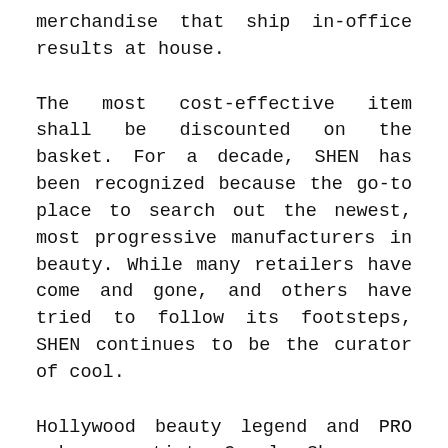merchandise that ship in-office results at house.
The most cost-effective item shall be discounted on the basket. For a decade, SHEN has been recognized because the go-to place to search out the newest, most progressive manufacturers in beauty. While many retailers have come and gone, and others have tried to follow its footsteps, SHEN continues to be the curator of cool.
Hollywood beauty legend and PRO makeup artist Carol Shaw was inspired to develop LORAC after watching her movie star clients suffer from skin irritation and breakouts on set. The professional formulation she created were infused with mild and soothing elements that supplied skilled performance, with out sacrificing wholesome skin. He became i with the li i i i i i i i d